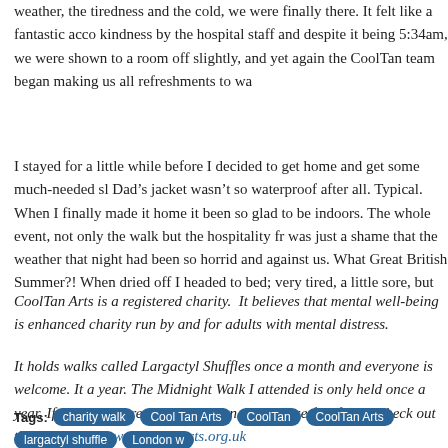weather, the tiredness and the cold, we were finally there. It felt like a fantastic acco kindness by the hospital staff and despite it being 5:34am, we were shown to a room off slightly, and yet again the CoolTan team began making us all refreshments to wa
I stayed for a little while before I decided to get home and get some much-needed sl Dad’s jacket wasn’t so waterproof after all. Typical. When I finally made it home it been so glad to be indoors. The whole event, not only the walk but the hospitality fr was just a shame that the weather that night had been so horrid and against us. What Great British Summer?! When dried off I headed to bed; very tired, a little sore, but
CoolTan Arts is a registered charity. It believes that mental well-being is enhanced charity run by and for adults with mental distress.
It holds walks called Largactyl Shuffles once a month and everyone is welcome. It a year. The Midnight Walk I attended is only held once a year. If you are interested in CoolTan Arts please feel free to check out their webpage www.cooltanarts.org.uk
Tags: charity walk | Cool Tan Arts | CoolTan | CoolTan Arts | largactyl shuffle | London w | charity | Midnight walks | moon project | MoonProject | raising money with walks